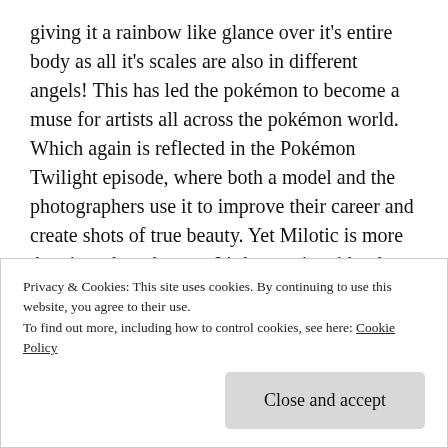giving it a rainbow like glance over it's entire body as all it's scales are also in different angels! This has led the pokémon to become a muse for artists all across the pokémon world. Which again is reflected in the Pokémon Twilight episode, where both a model and the photographers use it to improve their career and create shots of true beauty. Yet Milotic is more than just about beauty. It's beauty is said to be so vast that it will mesmerise anyone who looks at it. This effect causes people to lose any negativity in their heart, with hate and their will to fight being specifically highlighted. So not only is this a radiant
Privacy & Cookies: This site uses cookies. By continuing to use this website, you agree to their use.
To find out more, including how to control cookies, see here: Cookie Policy
Close and accept